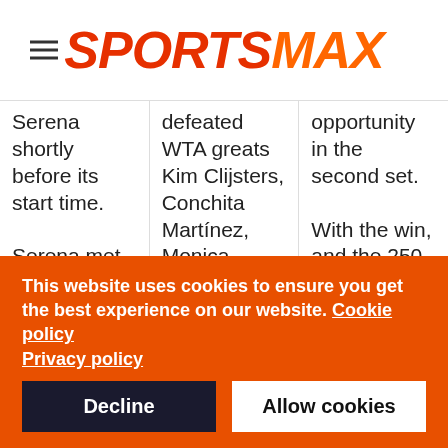SPORTSMAX
Serena shortly before its start time.

Serena met Kim Clijsters in the final, and there were grim jeers for Venus and Richard when both took
defeated WTA greats Kim Clijsters, Conchita Martínez, Monica Seles and defending champion Lindsay Davenport to reach the final in
opportunity in the second set.

With the win, and the 250 ranking points, Mannarino will rise 20 places up to 45th in the world.
This website uses cookies to ensure you get the best experience on our website. Cookie policy
Privacy policy
Decline
Allow cookies